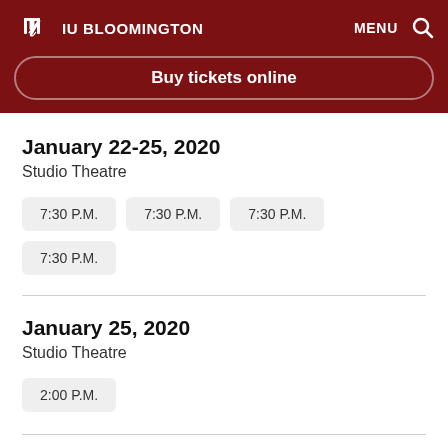IU BLOOMINGTON  MENU
Buy tickets online
January 22-25, 2020
Studio Theatre
7:30 P.M.
7:30 P.M.
7:30 P.M.
7:30 P.M.
January 25, 2020
Studio Theatre
2:00 P.M.
Learn more about IU Theatre ticket options